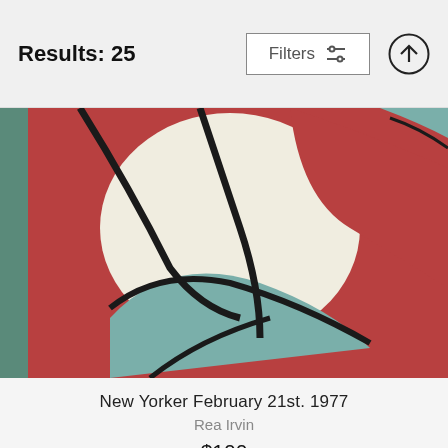Results: 25
[Figure (illustration): Cropped painting showing abstract figures in red, white, teal and black bold outlines — New Yorker February 21st 1977 cover art by Rea Irvin]
New Yorker February 21st. 1977
Rea Irvin
$100
[Figure (illustration): Small thumbnail placeholder — empty white square with gray border]
And Would It Kill You To Put Some Pizzazz Into It?
Zachary Kanin
$100